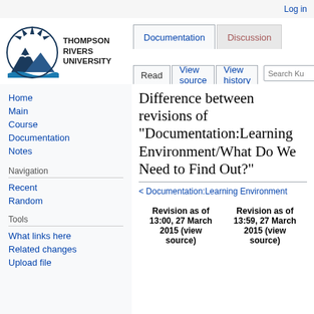Log in
[Figure (logo): Thompson Rivers University logo with sun/mountain graphic and text THOMPSON RIVERS UNIVERSITY]
Documentation  Discussion  Read  View source  View history  Search Ku
Difference between revisions of "Documentation:Learning Environment/What Do We Need to Find Out?"
< Documentation:Learning Environment
Home
Main
Course
Documentation
Notes
Navigation
Recent
Random
Tools
What links here
Related changes
Upload file
| Revision as of 13:00, 27 March 2015 (view source) | Revision as of 13:59, 27 March 2015 (view source) |
| --- | --- |